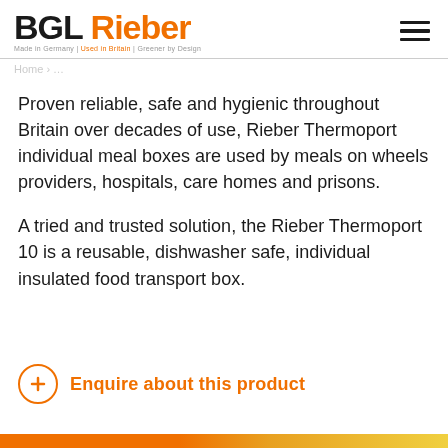BGL Rieber — Made in Germany | Used in Britain | Greener by Design
Proven reliable, safe and hygienic throughout Britain over decades of use, Rieber Thermoport individual meal boxes are used by meals on wheels providers, hospitals, care homes and prisons.
A tried and trusted solution, the Rieber Thermoport 10 is a reusable, dishwasher safe, individual insulated food transport box.
Enquire about this product